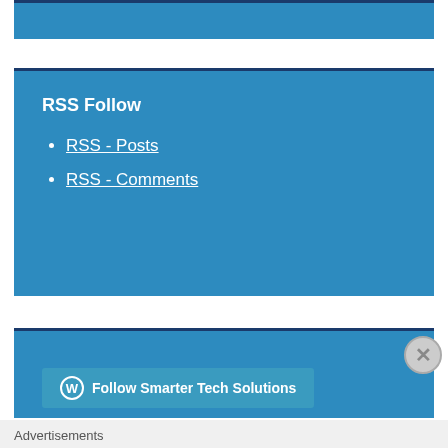[Figure (other): Blue header bar at top of widget]
RSS Follow
RSS - Posts
RSS - Comments
[Figure (other): Blue box with Follow Smarter Tech Solutions button and WordPress icon, with a close (X) button overlay]
Advertisements